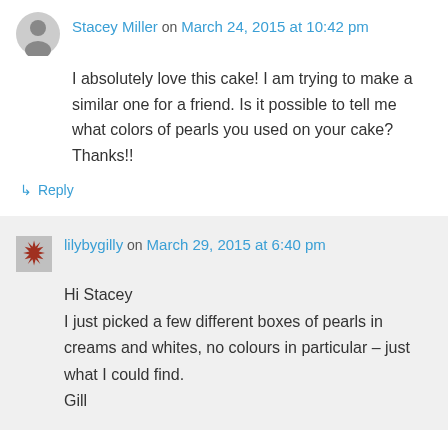Stacey Miller on March 24, 2015 at 10:42 pm
I absolutely love this cake! I am trying to make a similar one for a friend. Is it possible to tell me what colors of pearls you used on your cake? Thanks!!
↳ Reply
lilybygilly on March 29, 2015 at 6:40 pm
Hi Stacey
I just picked a few different boxes of pearls in creams and whites, no colours in particular – just what I could find.
Gill